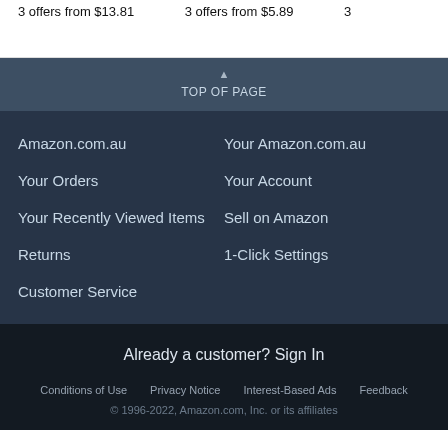3 offers from $13.81    3 offers from $5.89    3
TOP OF PAGE
Amazon.com.au
Your Amazon.com.au
Your Orders
Your Account
Your Recently Viewed Items
Sell on Amazon
Returns
1-Click Settings
Customer Service
Already a customer?  Sign In
Conditions of Use    Privacy Notice    Interest-Based Ads    Feedback
© 1996-2022, Amazon.com, Inc. or its affiliates